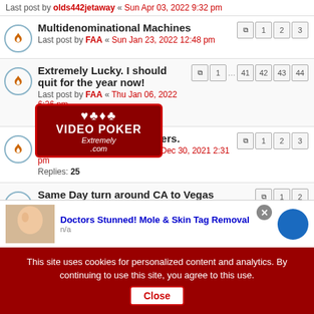Last post by olds442jetaway « Sun Apr 03, 2022 9:32 pm
Multidenominational Machines
Last post by FAA « Sun Jan 23, 2022 12:48 pm
Extremely Lucky. I should quit for the year now!
Last post by FAA « Thu Jan 06, 2022 6:26 pm
Replies: 430
Playing with some numbers.
Last post by applepear86 « Thu Dec 30, 2021 2:31 pm
Replies: 25
Same Day turn around CA to Vegas
Last post by olds442jetaway « Wed Dec 29, 2021 3:58 pm
Replies: 19
The Mrs. Hits again!
Last post by OTABILL « Thu Dec 23, 2021 10:37 pm
Replies: 14
[Figure (logo): Video Poker Extremly .com logo overlay with card suits]
Doctors Stunned! Mole & Skin Tag Removal
n/a
This site uses cookies for personalized content and analytics. By continuing to use this site, you agree to this use. Close